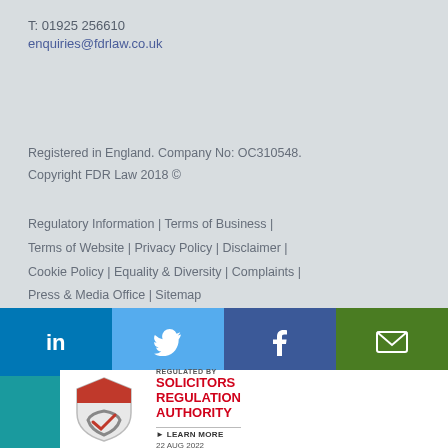T: 01925 256610
enquiries@fdrlaw.co.uk
Registered in England. Company No: OC310548.
Copyright FDR Law 2018 ©
Regulatory Information | Terms of Business | Terms of Website | Privacy Policy | Disclaimer | Cookie Policy | Equality & Diversity | Complaints | Press & Media Office | Sitemap
[Figure (other): Social media and contact icon bar: LinkedIn (blue), Twitter (light blue), Facebook (dark blue), Email (green), Plus/share (teal), Share (red)]
[Figure (logo): Solicitors Regulation Authority badge: shield icon on left, text REGULATED BY SOLICITORS REGULATION AUTHORITY, LEARN MORE, 22 AUG 2022]